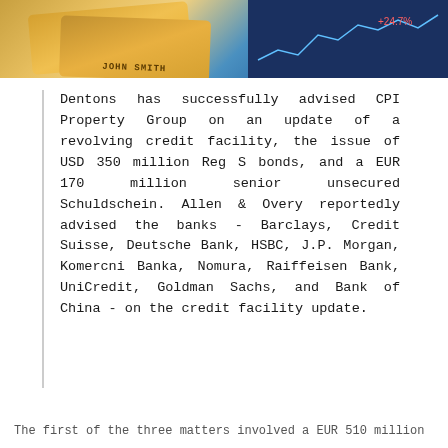[Figure (photo): Banner image showing credit/debit cards with 'JOHN SMITH' text and a financial chart on a blue background]
Dentons has successfully advised CPI Property Group on an update of a revolving credit facility, the issue of USD 350 million Reg S bonds, and a EUR 170 million senior unsecured Schuldschein. Allen & Overy reportedly advised the banks - Barclays, Credit Suisse, Deutsche Bank, HSBC, J.P. Morgan, Komercni Banka, Nomura, Raiffeisen Bank, UniCredit, Goldman Sachs, and Bank of China - on the credit facility update.
The first of the three matters involved a EUR 510 million